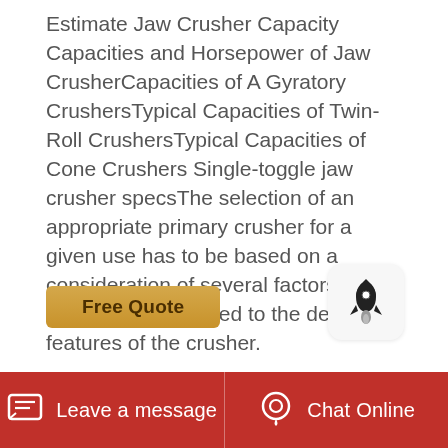Estimate Jaw Crusher Capacity Capacities and Horsepower of Jaw CrusherCapacities of A Gyratory CrushersTypical Capacities of Twin-Roll CrushersTypical Capacities of Cone Crushers Single-toggle jaw crusher specsThe selection of an appropriate primary crusher for a given use has to be based on a consideration of several factors. These are not limited to the design features of the crusher.
[Figure (illustration): A rounded rectangle button/icon with a rocket ship icon inside, displayed on a light gray background.]
[Figure (other): Free Quote button — golden/tan colored rounded button with bold dark text 'Free Quote'.]
[Figure (photo): Photo of industrial crusher machinery — showing red cylindrical drum on the left and black ribbed/finned crusher rolls in the center and right, with metal framework visible.]
Leave a message   Chat Online